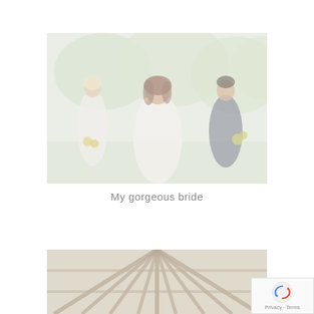[Figure (photo): Outdoor wedding photo showing a smiling bride in white dress in the foreground, with a bridesmaid in white holding yellow flowers on the left and a man in a dark suit holding flowers on the right, with green trees in the background. Image has a faded/washed-out appearance.]
My gorgeous bride
[Figure (photo): Interior architectural photo of what appears to be a church or cathedral ceiling/roof structure, showing wooden beams in a fan/radial pattern. Image is partially visible and faded.]